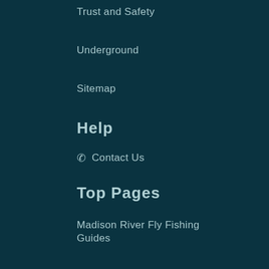Trust and Safety
Underground
Sitemap
Help
Contact Us
Top Pages
Madison River Fly Fishing Guides
Madison River Fishing
Montana Outfitters
Missouri River Fishing
Yellowstone River Fishing
Jefferson River Fishing